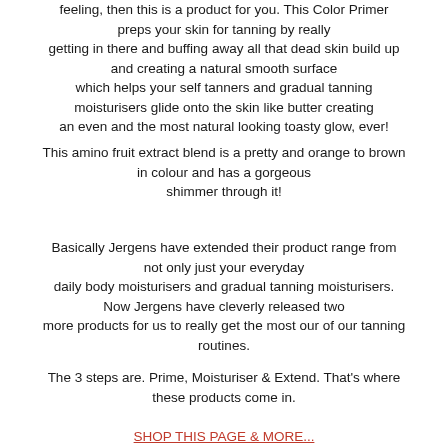feeling, then this is a product for you. This Color Primer preps your skin for tanning by really getting in there and buffing away all that dead skin build up and creating a natural smooth surface which helps your self tanners and gradual tanning moisturisers glide onto the skin like butter creating an even and the most natural looking toasty glow, ever!
This amino fruit extract blend is a pretty and orange to brown in colour and has a gorgeous shimmer through it!
Basically Jergens have extended their product range from not only just your everyday daily body moisturisers and gradual tanning moisturisers. Now Jergens have cleverly released two more products for us to really get the most our of our tanning routines.
The 3 steps are. Prime, Moisturiser & Extend. That's where these products come in.
SHOP THIS PAGE & MORE...